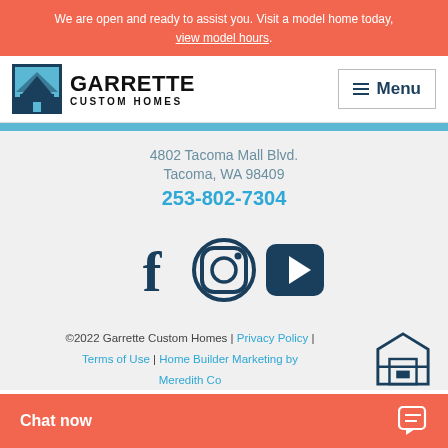We are open and ready to assist you. Visit a model home today, view model hours.
[Figure (logo): Garrette Custom Homes logo with house icon]
4802 Tacoma Mall Blvd. Tacoma, WA 98409 253-802-7304
[Figure (infographic): Social media icons: Facebook, Instagram, YouTube in dark blue]
©2022 Garrette Custom Homes | Privacy Policy | Terms of Use | Home Builder Marketing by Meredith Co...
Chat now